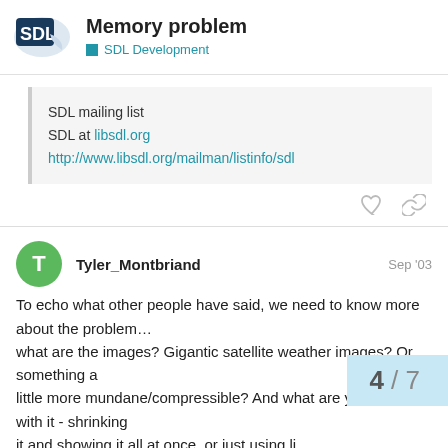Memory problem — SDL Development
SDL mailing list
SDL at libsdl.org
http://www.libsdl.org/mailman/listinfo/sdl
Tyler_Montbriand  Sep '03
To echo what other people have said, we need to know more about the problem…
what are the images? Gigantic satellite weather images? Or something a
little more mundane/compressible? And what are you doing with it - shrinking
it and showing it all at once, or just using li
at a